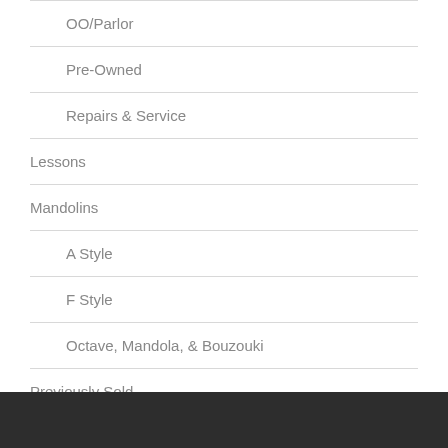OO/Parlor
Pre-Owned
Repairs & Service
Lessons
Mandolins
A Style
F Style
Octave, Mandola, & Bouzouki
Previously Sold